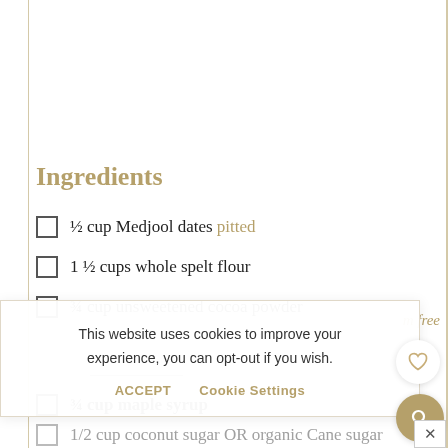Ingredients
½ cup Medjool dates pitted
1 ½ cups whole spelt flour
¾ cup unsweetened cocoa powder
This website uses cookies to improve your experience, you can opt-out if you wish.
ACCEPT   Cookie Settings
¾ cup maple syrup
1/2 cup coconut sugar OR organic Cane sugar
1/3 cup almond milk